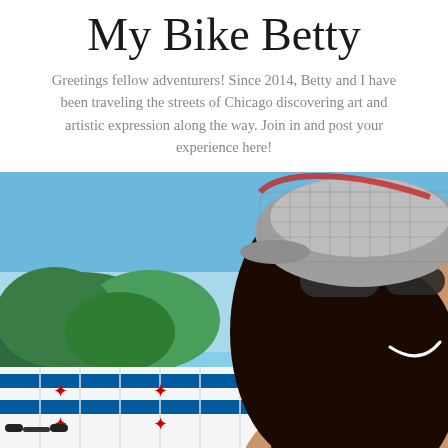My Bike Betty
Greetings fellow adventurers! Since 2014, Betty and I have been traveling the streets of Chicago discovering art and artistic expression along the way. Join in and post your experience here!
[Figure (photo): Close-up selfie of a smiling woman wearing sunglasses and a grey-and-red plaid flat cap, with dark curly hair, outdoors. In the background: clear blue sky, green trees, and a shipping container painted with the Chicago flag (white with blue horizontal stripes and red six-pointed stars). Handlebars of a bicycle are visible at the bottom.]